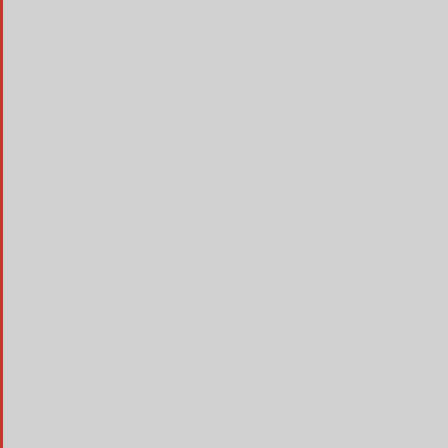[Figure (photo): Gray rectangular panel with red/orange vertical border lines on left and right edges]
Compatible U-Joint Ki
U-Bolt or Strap Assem
Notes
Cast/Forged
Related Item(s)
[Figure (photo): U-Joint cross with snap rings and hardware, shown on watermark background]
U-Joint - Inside Snap Ri